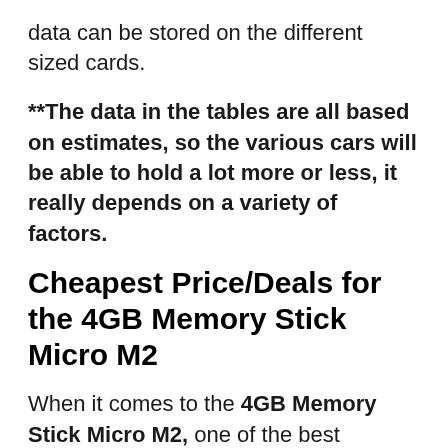data can be stored on the different sized cards.
**The data in the tables are all based on estimates, so the various cars will be able to hold a lot more or less, it really depends on a variety of factors.
Cheapest Price/Deals for the 4GB Memory Stick Micro M2
When it comes to the 4GB Memory Stick Micro M2, one of the best websites out there has definitely got to be Amazon.com. We really love this card, simply because it is able